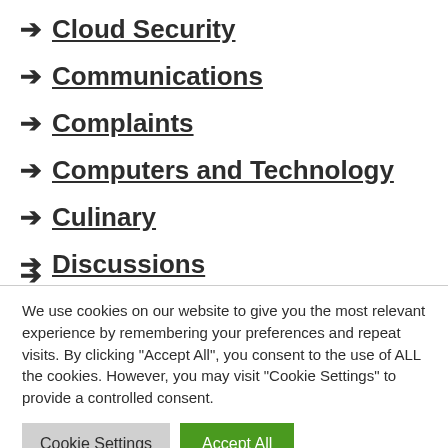→ Cloud Security
→ Communications
→ Complaints
→ Computers and Technology
→ Culinary
→ Discussions
We use cookies on our website to give you the most relevant experience by remembering your preferences and repeat visits. By clicking "Accept All", you consent to the use of ALL the cookies. However, you may visit "Cookie Settings" to provide a controlled consent.